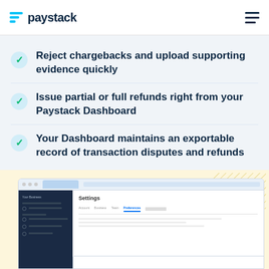paystack
Chargebacks automatically reflect on the Paystack Dashboard
Reject chargebacks and upload supporting evidence quickly
Issue partial or full refunds right from your Paystack Dashboard
Your Dashboard maintains an exportable record of transaction disputes and refunds
[Figure (screenshot): Paystack dashboard screenshot showing Settings page with Preferences tab selected, sidebar navigation on dark background, and a content area]